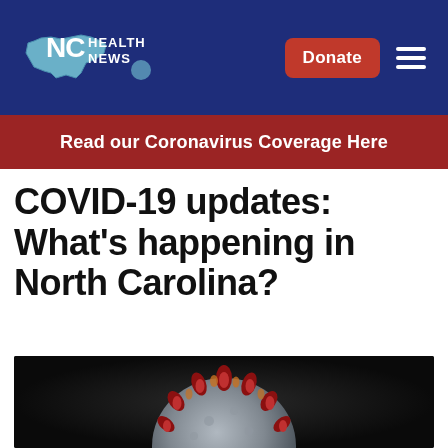NC Health News
Read our Coronavirus Coverage Here
COVID-19 updates: What’s happening in North Carolina?
[Figure (photo): Close-up microscope image of a coronavirus particle — grey spherical body with red spike proteins on a dark background]